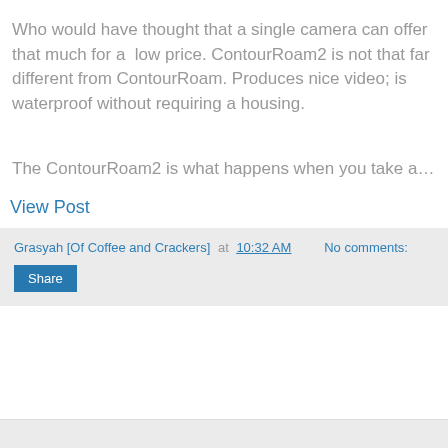Who would have thought that a single camera can offer that much for a  low price. ContourRoam2 is not that far different from ContourRoam. Produces nice video; is waterproof without requiring a housing.
The ContourRoam2 is what happens when you take a…
View Post
Grasyah [Of Coffee and Crackers] at 10:32 AM    No comments:
Share